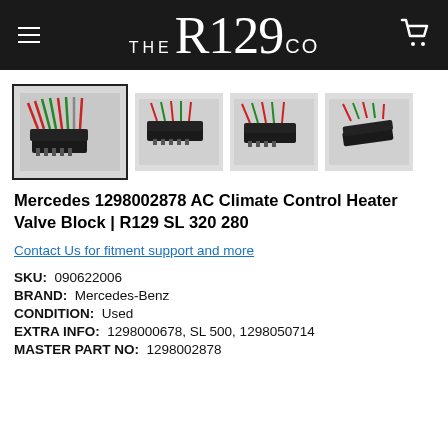THE R129 CO
[Figure (photo): Four thumbnail photos of a Mercedes AC Climate Control Heater Valve Block connector with colored wires, shown from multiple angles. The first image is shown with a border (selected/active).]
Mercedes 1298002878 AC Climate Control Heater Valve Block | R129 SL 320 280
Contact Us for fitment support and more
SKU: 090622006
BRAND: Mercedes-Benz
CONDITION: Used
EXTRA INFO: 1298000678, SL 500, 1298050714
MASTER PART NO: 1298002878